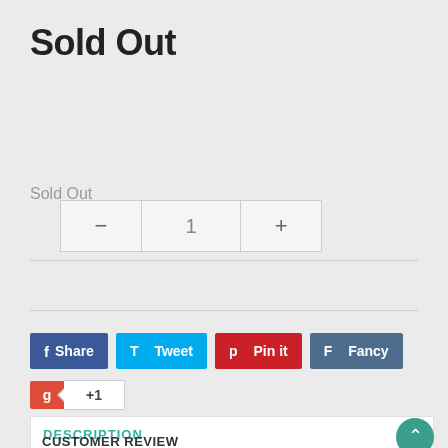Sold Out
1
Sold Out
[Figure (other): Social sharing buttons: Share (Facebook, blue), Tweet (Twitter, light blue), Pin it (Pinterest, red), Fancy (Fancy, dark blue), and a Google +1 button with count]
DESCRIPTION
CUSTOMER REVIEW